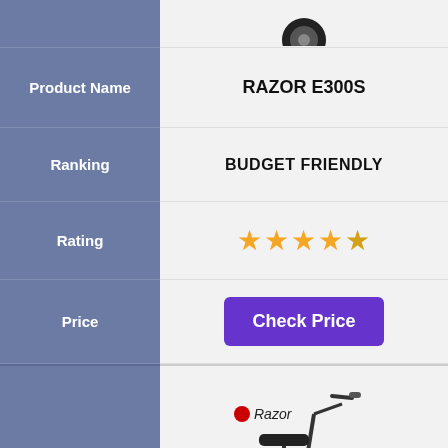|  | Product Info |
| --- | --- |
| Product Name | RAZOR E300S |
| Ranking | BUDGET FRIENDLY |
| Rating | 4.5 stars |
| Price | Check Price |
| Image | Razor EcoSmart Metro scooter photo |
| Product Name | RAZOR ECOSMART METRO |
| Ranking | PRACTICAL DESIGN |
| Rating | stars (partial) |